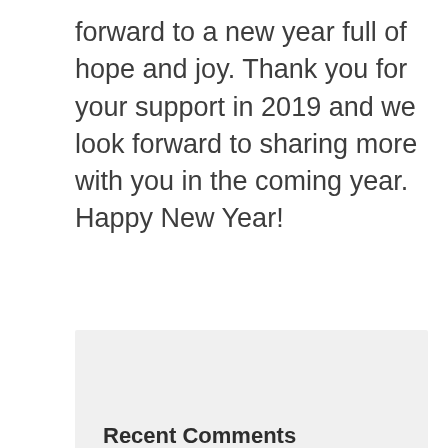forward to a new year full of hope and joy. Thank you for your support in 2019 and we look forward to sharing more with you in the coming year. Happy New Year!
Recent Comments